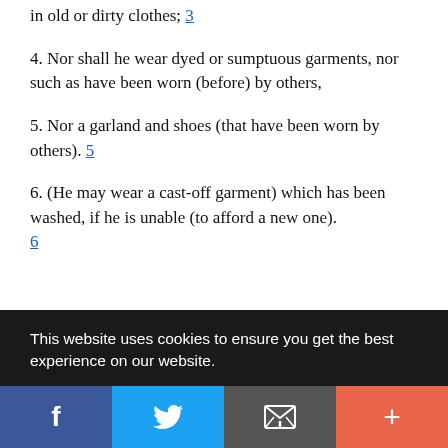in old or dirty clothes; 3
4. Nor shall he wear dyed or sumptuous garments, nor such as have been worn (before) by others,
5. Nor a garland and shoes (that have been worn by others). 5
6. (He may wear a cast-off garment) which has been washed, if he is unable (to afford a new one). 6
...t a
This website uses cookies to ensure you get the best experience on our website.
Got it!